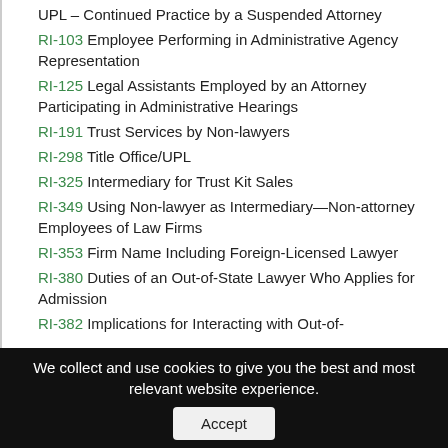UPL – Continued Practice by a Suspended Attorney
RI-103 Employee Performing in Administrative Agency Representation
RI-125 Legal Assistants Employed by an Attorney Participating in Administrative Hearings
RI-191 Trust Services by Non-lawyers
RI-298 Title Office/UPL
RI-325 Intermediary for Trust Kit Sales
RI-349 Using Non-lawyer as Intermediary—Non-attorney Employees of Law Firms
RI-353 Firm Name Including Foreign-Licensed Lawyer
RI-380 Duties of an Out-of-State Lawyer Who Applies for Admission
RI-382 Implications for Interacting with Out-of-
We collect and use cookies to give you the best and most relevant website experience. Accept